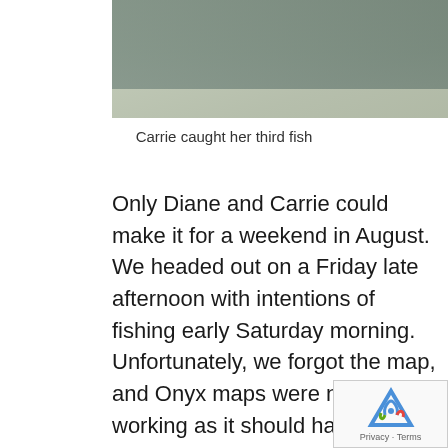[Figure (photo): Partial photo showing lower body of a person wearing gray pants, standing in green grassy area]
Carrie caught her third fish
Only Diane and Carrie could make it for a weekend in August. We headed out on a Friday late afternoon with intentions of fishing early Saturday morning. Unfortunately, we forgot the map, and Onyx maps were not working as it should have. We ended up lost for a couple of hours, though we did get to see some beautiful country. Regrouping and finding our way, we knew we were on the right path driving along the river we wanted and looking for the perfect spot to fish. And we found it! I finished the Cutt Slam with what we called the Guppy Colorado cutthroat. As I was securing my pole and pack, I heard crashing through the bushes behind me. For a split second, I believe I was going to be a late lunch for a grizzly bear, trying